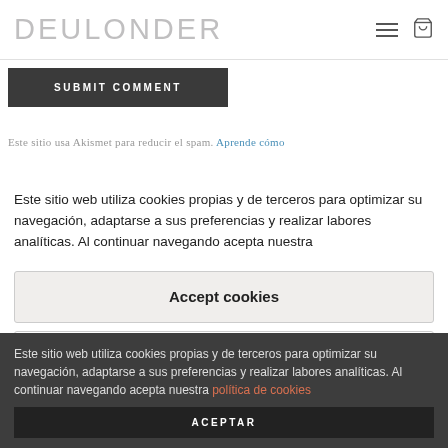DEULONDER
SUBMIT COMMENT
Este sitio usa Akismet para reducir el spam. Aprende cómo
Este sitio web utiliza cookies propias y de terceros para optimizar su navegación, adaptarse a sus preferencias y realizar labores analíticas. Al continuar navegando acepta nuestra
Accept cookies
Deny
Este sitio web utiliza cookies propias y de terceros para optimizar su navegación, adaptarse a sus preferencias y realizar labores analíticas. Al continuar navegando acepta nuestra política de cookies
ACEPTAR